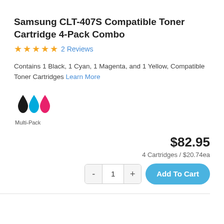Samsung CLT-407S Compatible Toner Cartridge 4-Pack Combo
★★★★★ 2 Reviews
Contains 1 Black, 1 Cyan, 1 Magenta, and 1 Yellow, Compatible Toner Cartridges Learn More
[Figure (illustration): Three ink drop icons in black, cyan, and magenta/pink colors representing multi-pack toner cartridges, with label 'Multi-Pack' below]
$82.95
4 Cartridges / $20.74ea
- 1 + Add To Cart